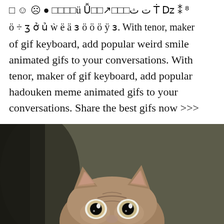□ ☺ ☹ ● □□□□ü Ǚ□□↗□□□ت ث Ṫ ǲ ⁑ ⁸ ö ÷ ʒ ở ủ ẁ ë ä ɜ ö ö ö ÿ ɜ. With tenor, maker of gif keyboard, add popular weird smile animated gifs to your conversations. With tenor, maker of gif keyboard, add popular hadouken meme animated gifs to your conversations. Share the best gifs now >>>
[Figure (photo): A tabby cat peeking up from the bottom of the frame with wide, alert eyes, photographed against a dark olive/grey background. Only the top of the cat's head, ears, and eyes are visible.]